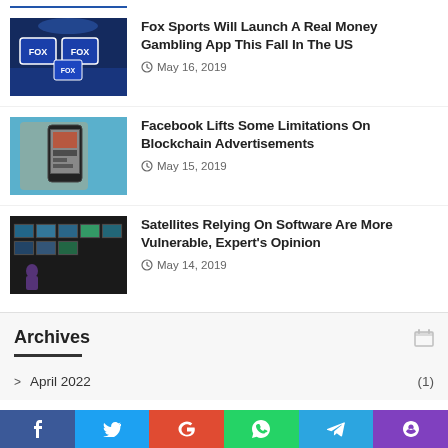[Figure (photo): Partial top image strip - Fox Sports studio blue background]
[Figure (photo): Fox Sports studio with Fox logos and blue lighting]
Fox Sports Will Launch A Real Money Gambling App This Fall In The US
May 16, 2019
[Figure (photo): Hand holding a smartphone showing a sports streaming app]
Facebook Lifts Some Limitations On Blockchain Advertisements
May 15, 2019
[Figure (photo): Server room / broadcast control room with multiple screens]
Satellites Relying On Software Are More Vulnerable, Expert’s Opinion
May 14, 2019
Archives
April 2022 (1)